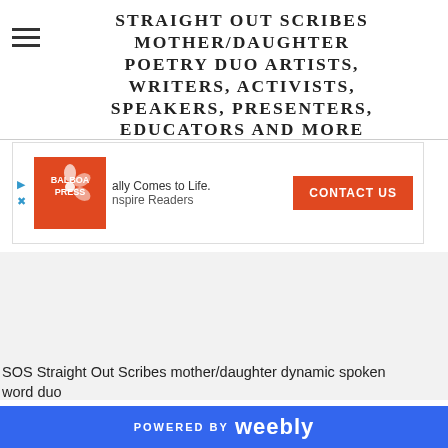STRAIGHT OUT SCRIBES MOTHER/DAUGHTER POETRY DUO ARTISTS, WRITERS, ACTIVISTS, SPEAKERS, PRESENTERS, EDUCATORS AND MORE
[Figure (other): Balboa Press advertisement banner with logo, text 'ally Comes to Life. nspire Readers', navigation arrows, and orange CONTACT US button]
[Figure (photo): Gray section background area showing SOS Straight Out Scribes mother/daughter dynamic spoken word duo image area]
SOS Straight Out Scribes mother/daughter dynamic spoken word duo
POWERED BY weebly